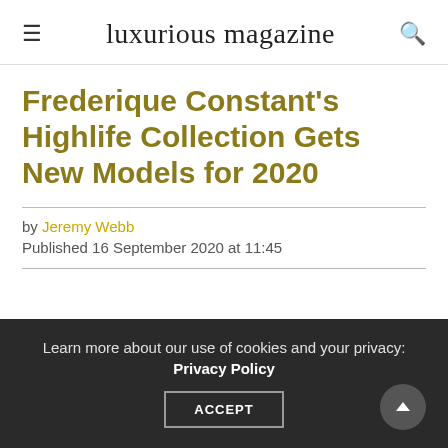luxurious magazine
Frederique Constant's Highlife Collection Gets New Models for 2020
by Jeremy Webb
Published 16 September 2020 at 11:45
Learn more about our use of cookies and your privacy: Privacy Policy ACCEPT